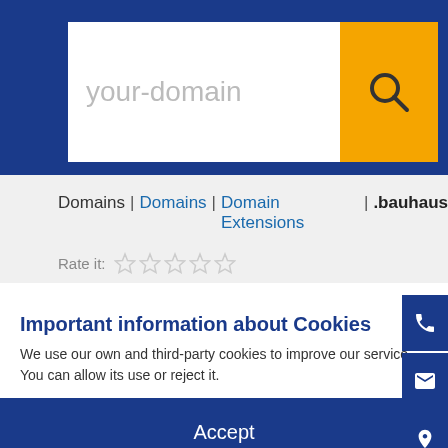[Figure (screenshot): Search bar with placeholder text 'your-domain' and an orange search button with magnifying glass icon, on a dark blue background header]
Domains | Domains | Domain Extensions | .bauhaus
Rate it:
Important information about Cookies
We use our own and third-party cookies to improve our service. You can allow its use or reject it.
Accept
Settings
More Info